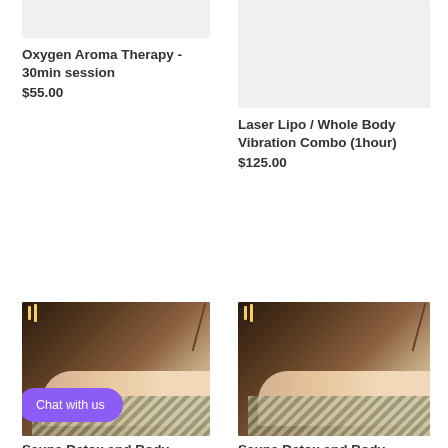[Figure (photo): Light gray placeholder image for Oxygen Aroma Therapy product]
Oxygen Aroma Therapy - 30min session
$55.00
[Figure (photo): Large light gray placeholder image for Laser Lipo / Whole Body Vibration Combo product]
Laser Lipo / Whole Body Vibration Combo (1hour)
$125.00
[Figure (photo): Photo of woman lying down wrapped in sauna blanket with candles and branches in background, Chat with us button overlay]
Sauna Detox and Body
[Figure (photo): Photo of woman lying down wrapped in sauna blanket with candles and branches in background]
Sauna Detox and Body